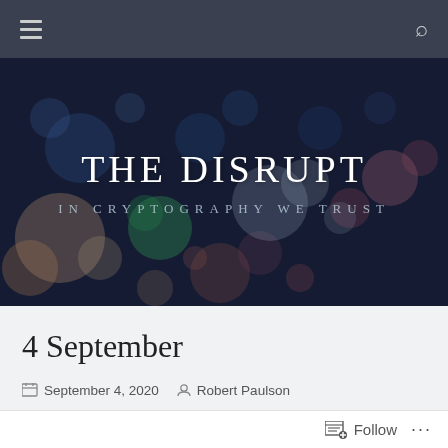Navigation bar with hamburger menu and search icon
[Figure (photo): Hero banner with bokeh/blurred city lights background in dark blue tones with colorful out-of-focus circles. Contains site title 'THE DISRUPT' in white serif letters and subtitle 'IN CRYPTOGRAPHY WE TRUST' in spaced silver letters.]
THE DISRUPT
IN CRYPTOGRAPHY WE TRUST
4 September
September 4, 2020  Robert Paulson
[Figure (photo): Partial thumbnail image at bottom of page, dark teal background with partial text visible]
Follow  ...